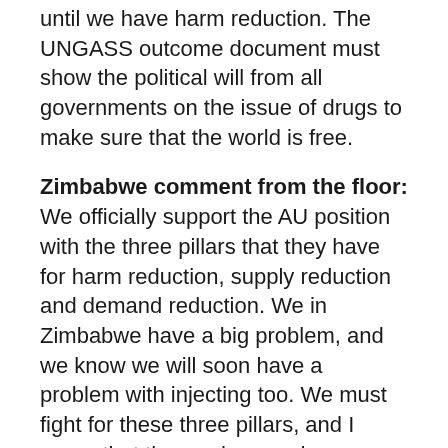until we have harm reduction. The UNGASS outcome document must show the political will from all governments on the issue of drugs to make sure that the world is free.
Zimbabwe comment from the floor: We officially support the AU position with the three pillars that they have for harm reduction, supply reduction and demand reduction. We in Zimbabwe have a big problem, and we know we will soon have a problem with injecting too. We must fight for these three pillars, and I agree that those who use drugs should be considered as people, not as criminals.
Chair: It is great to hear that African countries are supporting the AU position,